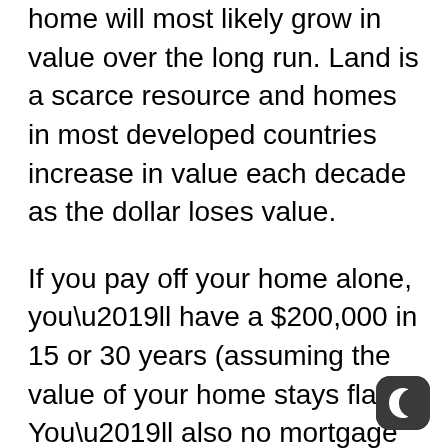home will most likely grow in value over the long run. Land is a scarce resource and homes in most developed countries increase in value each decade as the dollar loses value.
If you pay off your home alone, you’ll have a $200,000 in 15 or 30 years (assuming the value of your home stays flat). You’ll also no mortgage payments so now you have a lot more income to invest or enjoy your life.
If you’re single then it’s more difficult to afford a home on your home but you’ll be glad you did as long as you enjoy the city/town and